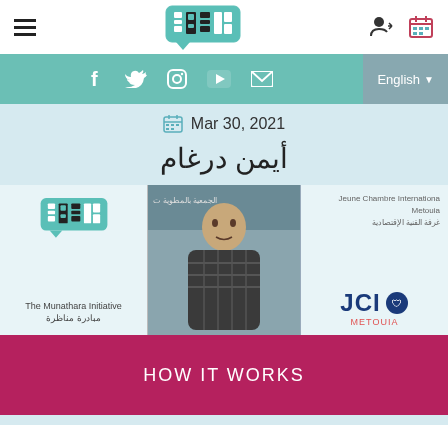Navigation bar with hamburger menu, Munathara Initiative logo, user icon, calendar icon
Social bar with f, twitter, instagram, youtube, mail icons and English language selector
Mar 30, 2021
أيمن درغام
[Figure (photo): Composite image showing The Munathara Initiative logo and Arabic text on left panel, a young man in checkered sweater in center panel, and JCI Metouia logo with Arabic text on right panel]
HOW IT WORKS